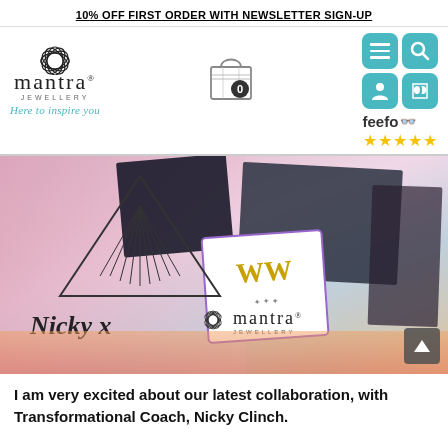10% OFF FIRST ORDER WITH NEWSLETTER SIGN-UP
[Figure (logo): Mantra Jewellery logo with lotus flower icon and tagline 'Here to inspire you', shopping bag icon with 0, navigation icon buttons (menu, search, person, phone), Feefo 5-star rating]
[Figure (photo): Collaborative banner image with Nicky x Mantra Jewellery branding, showing geometric triangle logo, lifestyle photos, and Mantra Jewellery logo with Nicky x handwritten text]
I am very excited about our latest collaboration, with Transformational Coach, Nicky Clinch.